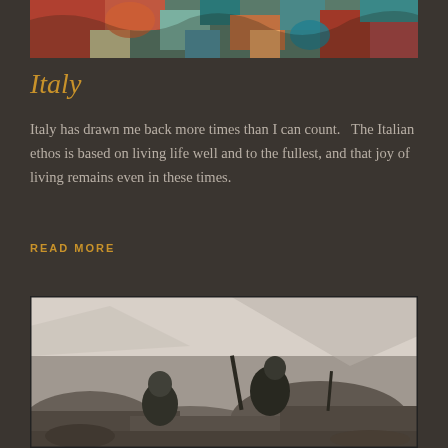[Figure (photo): Aerial colorful photograph showing abstract patterns of water and land, likely Venice or Italian lagoon area with vivid colors of red, teal, and blue]
Italy
Italy has drawn me back more times than I can count.   The Italian ethos is based on living life well and to the fullest, and that joy of living remains even in these times.
READ MORE
[Figure (photo): Black and white photograph of armed fighters or soldiers positioned behind rocks, holding rifles, appearing to be in a mountainous region]